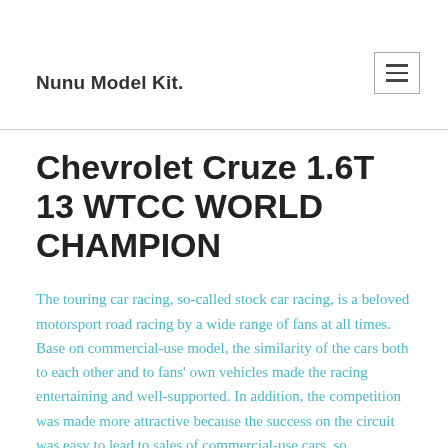Nunu Model Kit.
Chevrolet Cruze 1.6T 13 WTCC WORLD CHAMPION
The touring car racing, so-called stock car racing, is a beloved motorsport road racing by a wide range of fans at all times. Base on commercial-use model, the similarity of the cars both to each other and to fans' own vehicles made the racing entertaining and well-supported. In addition, the competition was made more attractive because the success on the circuit was easy to lead to sales of commercial-use cars, so